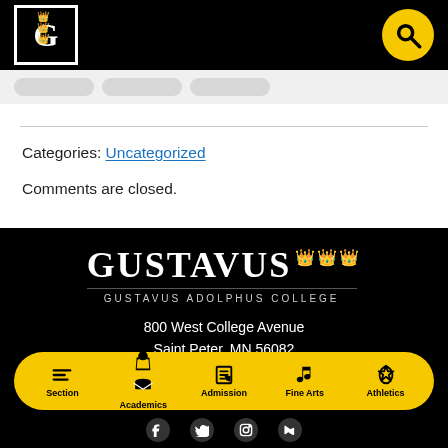[Figure (logo): Gustavus Adolphus College logo - black header bar with white G logo in bordered box on left and yellow search circle on right]
Categories: Uncategorized
Comments are closed.
[Figure (logo): Gustavus Adolphus College footer logo with large white GUSTAVUS wordmark with gold crowns and GUSTAVUS ADOLPHUS COLLEGE subtitle]
800 West College Avenue
Saint Peter, MN 56082
Navigation bar with Section, Academics, Admission, Fine Arts, Athletics icons on yellow pill